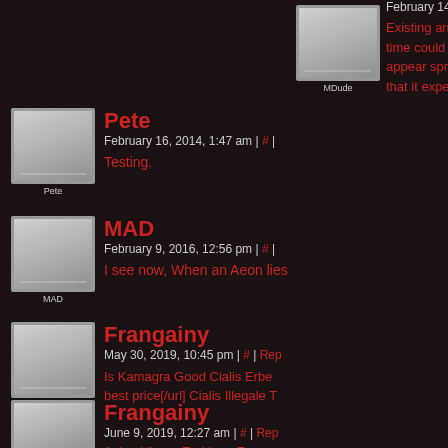MDude - February 14, 2014 - Existing an infini... time could work... appear spread a... that it experience...
Pete - February 16, 2014, 1:47 am | # | - Testing.
MAD - February 9, 2016, 12:56 pm | # | - I see now, When an Aeon lies...
Frangainy - May 30, 2019, 10:45 pm | # | Rep... - Is Kamagra Good Cialis Erbe... best price[/url] Cialis Illegale T...
Frangainy - June 9, 2019, 12:27 am | # | Rep... - Achat Viagra En Ligne France... Cialis Rx Sh...